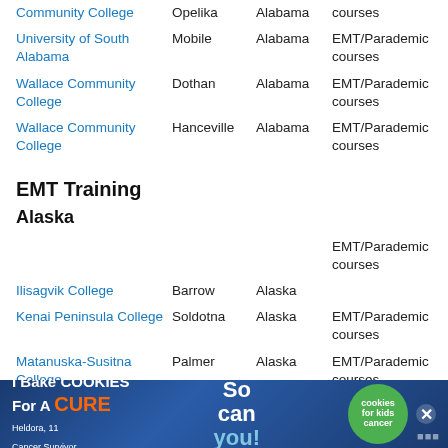| Institution | City | State | Type |
| --- | --- | --- | --- |
| Community College | Opelika | Alabama | courses |
| University of South Alabama | Mobile | Alabama | EMT/Parademic courses |
| Wallace Community College | Dothan | Alabama | EMT/Parademic courses |
| Wallace Community College | Hanceville | Alabama | EMT/Parademic courses |
EMT Training
Alaska
| Institution | City | State | Type |
| --- | --- | --- | --- |
| Ilisagvik College | Barrow | Alaska | EMT/Parademic courses |
| Kenai Peninsula College | Soldotna | Alaska | EMT/Parademic courses |
| Matanuska-Susitna College | Palmer | Alaska | EMT/Parademic courses |
[Figure (other): Advertisement banner: I Bake COOKIES For A CURE - Heldora, 11 Cancer Survivor - So can you! cookies for kids cancer]